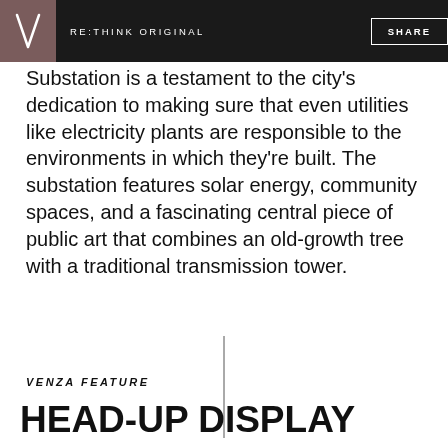RE:THINK ORIGINAL | SHARE
Substation is a testament to the city's dedication to making sure that even utilities like electricity plants are responsible to the environments in which they're built. The substation features solar energy, community spaces, and a fascinating central piece of public art that combines an old-growth tree with a traditional transmission tower.
VENZA FEATURE
HEAD-UP DISPLAY